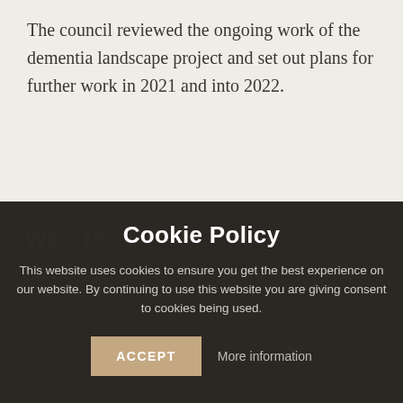The council reviewed the ongoing work of the dementia landscape project and set out plans for further work in 2021 and into 2022.
Cookie Policy
This website uses cookies to ensure you get the best experience on our website. By continuing to use this website you are giving consent to cookies being used.
ACCEPT
More information